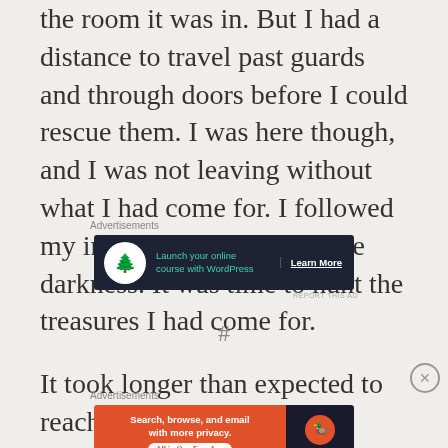the room it was in. But I had a distance to travel past guards and through doors before I could rescue them. I was here though, and I was not leaving without what I had come for. I followed my internal mapping into the darkness. It was time to hunt the treasures I had come for.
[Figure (other): Advertisement banner: dark navy background with white circle containing tree icon, teal text 'Launch your online course with WordPress', white 'Learn More' button text]
#
It took longer than expected to reach the room
[Figure (other): Advertisement banner: orange section with white text 'Search, browse, and email with more privacy. All in One Free App' and dark section with DuckDuckGo logo]